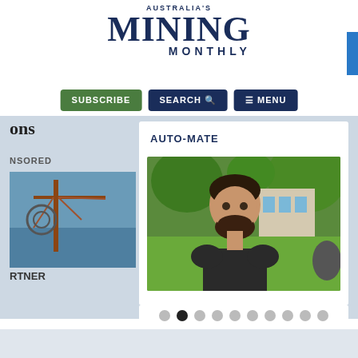AUSTRALIA'S MINING MONTHLY
SUBSCRIBE | SEARCH | MENU
ons
NSORED
[Figure (photo): Industrial mining structure over water]
RTNER
AUTO-MATE
[Figure (photo): Smiling man with beard in outdoor setting with trees and green lawn]